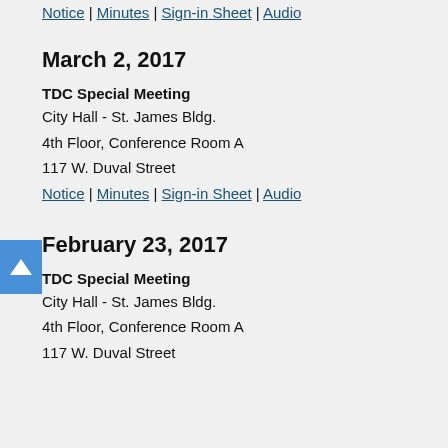Notice | Minutes | Sign-in Sheet | Audio
March 2, 2017
TDC Special Meeting
City Hall - St. James Bldg.
4th Floor, Conference Room A
117 W. Duval Street
Notice | Minutes | Sign-in Sheet | Audio
February 23, 2017
TDC Special Meeting
City Hall - St. James Bldg.
4th Floor, Conference Room A
117 W. Duval Street